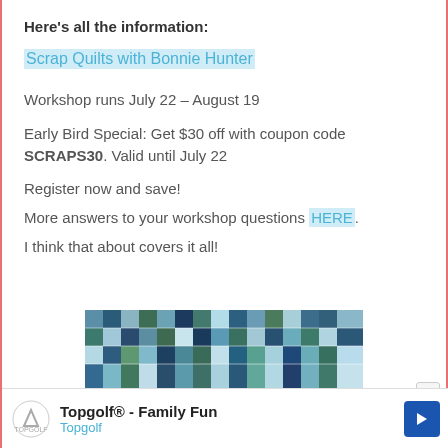Here's all the information:
Scrap Quilts with Bonnie Hunter
Workshop runs July 22 – August 19
Early Bird Special: Get $30 off with coupon code SCRAPS30. Valid until July 22
Register now and save!
More answers to your workshop questions HERE.
I think that about covers it all!
[Figure (photo): Patchwork quilt with blue, green, and teal fabric squares]
Topgolf® - Family Fun Topgolf